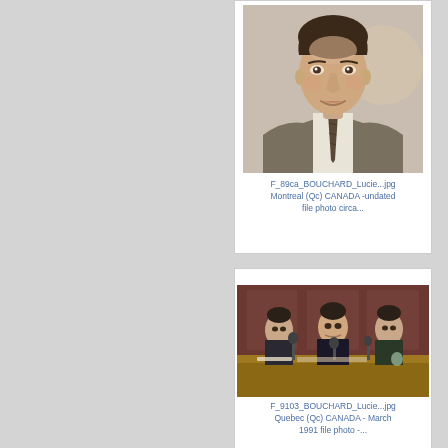[Figure (photo): Portrait photo of a man in a suit with a tie, dark hair, smiling slightly]
F_89ca_BOUCHARD_Lucie...jpg
Montreal (Qc) CANADA -undated file photo circa...
[Figure (photo): Group photo of three men in suits seated at a conference table with microphones, appearing to be at an official hearing or press conference]
F_9103_BOUCHARD_Lucie...jpg
Quebec (Qc) CANADA - March 1991 file photo -...